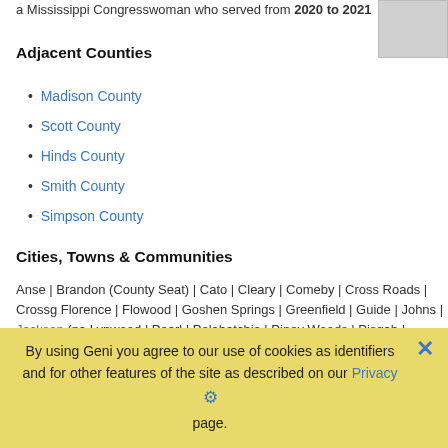a Mississippi Congresswoman who served from 2020 to 2021.
Adjacent Counties
Madison County
Scott County
Hinds County
Smith County
Simpson County
Cities, Towns & Communities
Anse | Brandon (County Seat) | Cato | Cleary | Comeby | Cross Roads | Crossg Florence | Flowood | Goshen Springs | Greenfield | Guide | Johns | Jackson (pa Lynwood | Pearl | Pelahatchie | Piney Woods | Pisgah | Puckett | Richmond | R Lakes | Star | Value | Whitfield
Links
Wikipedia
MS GenWeb
By using Geni you agree to our use of cookies as identifiers and for other features of the site as described on our Privacy page.